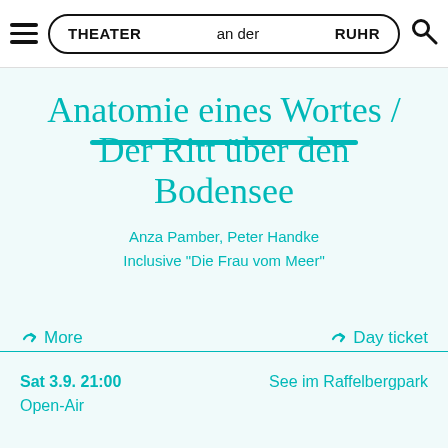THEATER  an der  RUHR
Anatomie eines Wortes / Der Ritt über den Bodensee
Anza Pamber, Peter Handke
Inclusive "Die Frau vom Meer"
→ More   → Day ticket
Sat 3.9. 21:00
Open-Air   See im Raffelbergpark